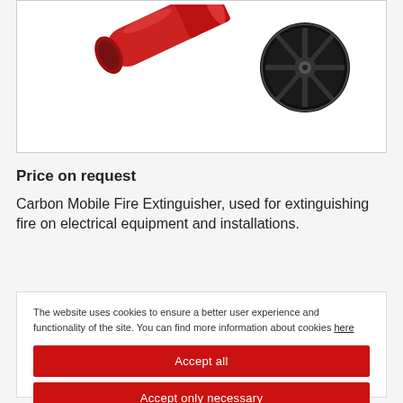[Figure (photo): Product photo showing a red hose nozzle/fitting on the left and a black wheel on the right for a carbon mobile fire extinguisher, on white background]
Price on request
Carbon Mobile Fire Extinguisher, used for extinguishing fire on electrical equipment and installations.
The website uses cookies to ensure a better user experience and functionality of the site. You can find more information about cookies here
Accept all
Accept only necessary
Settings